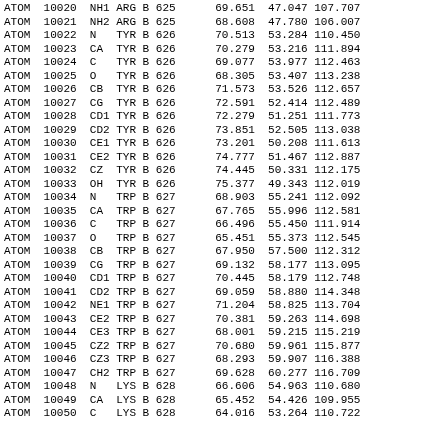PDB ATOM records listing coordinates for residues ARG B 625 through LYS B 628 (partial), atoms 10020-10050